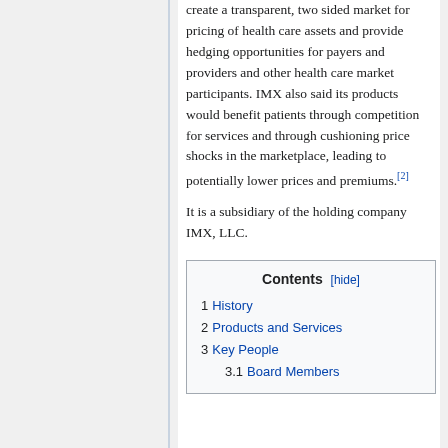create a transparent, two sided market for pricing of health care assets and provide hedging opportunities for payers and providers and other health care market participants. IMX also said its products would benefit patients through competition for services and through cushioning price shocks in the marketplace, leading to potentially lower prices and premiums.[2]
It is a subsidiary of the holding company IMX, LLC.
| Contents |
| --- |
| 1 History |
| 2 Products and Services |
| 3 Key People |
| 3.1 Board Members |